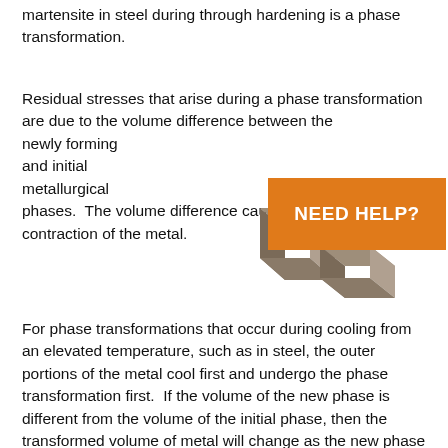martensite in steel during through hardening is a phase transformation.
Residual stresses that arise during a phase transformation are due to the volume difference between the newly forming and initial metallurgical phases.  The volume difference causes expansion or contraction of the metal.
[Figure (illustration): 3D rendered metallic cube/block with orange 'NEED HELP?' button overlaid]
For phase transformations that occur during cooling from an elevated temperature, such as in steel, the outer portions of the metal cool first and undergo the phase transformation first.  If the volume of the new phase is different from the volume of the initial phase, then the transformed volume of metal will change as the new phase